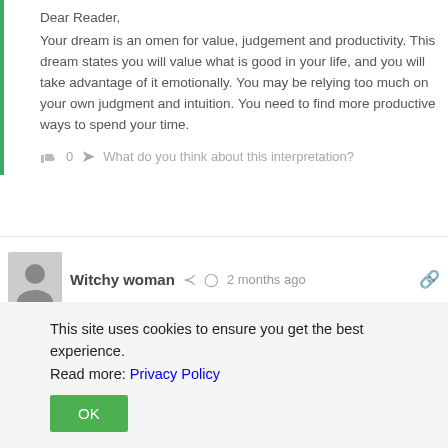Dear Reader,
Your dream is an omen for value, judgement and productivity. This dream states you will value what is good in your life, and you will take advantage of it emotionally. You may be relying too much on your own judgment and intuition. You need to find more productive ways to spend your time.
👍 0  ➤ What do you think about this interpretation?
Witchy woman  ⋲  🕐 2 months ago  🔗
I dreamt that I was protecting myself from being attacked with an egg in my hand and once I was outta harms way the egg started
This site uses cookies to ensure you get the best experience. Read more: Privacy Policy
OK